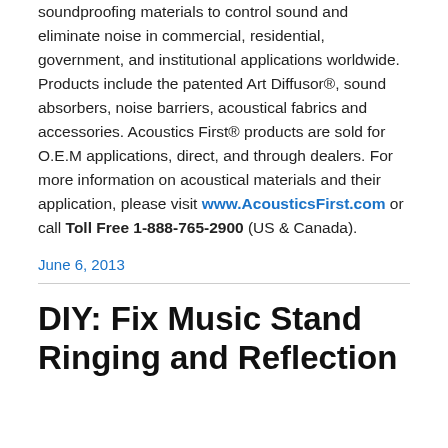soundproofing materials to control sound and eliminate noise in commercial, residential, government, and institutional applications worldwide. Products include the patented Art Diffusor®, sound absorbers, noise barriers, acoustical fabrics and accessories. Acoustics First® products are sold for O.E.M applications, direct, and through dealers. For more information on acoustical materials and their application, please visit www.AcousticsFirst.com or call Toll Free 1-888-765-2900 (US & Canada).
June 6, 2013
DIY: Fix Music Stand Ringing and Reflection